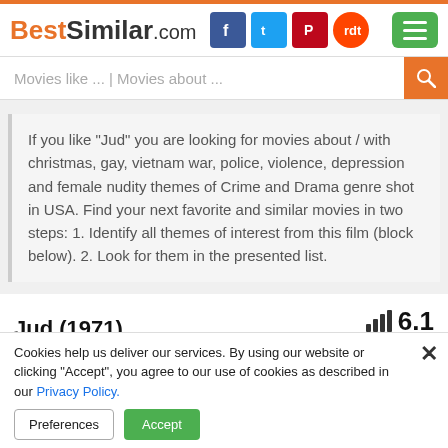BestSimilar.com
Movies like ... | Movies about ...
If you like "Jud" you are looking for movies about / with christmas, gay, vietnam war, police, violence, depression and female nudity themes of Crime and Drama genre shot in USA. Find your next favorite and similar movies in two steps: 1. Identify all themes of interest from this film (block below). 2. Look for them in the presented list.
Jud (1971)
6.1
33
[Figure (photo): Movie poster or screenshot for Jud (1971), yellow background with film reel graphic]
Cookies help us deliver our services. By using our website or clicking "Accept", you agree to our use of cookies as described in our Privacy Policy.